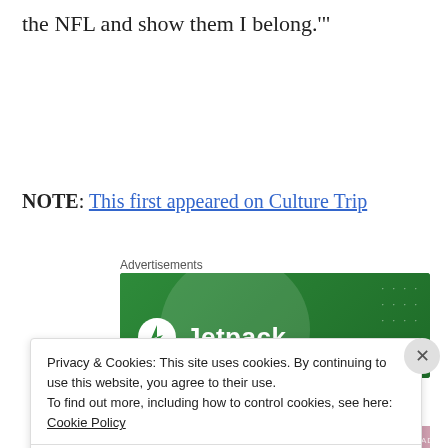the NFL and show them I belong.'"
NOTE: This first appeared on Culture Trip
Advertisements
[Figure (screenshot): Jetpack advertisement banner with green background, circular gradient shape, and Jetpack logo with lightning bolt icon]
Privacy & Cookies: This site uses cookies. By continuing to use this website, you agree to their use.
To find out more, including how to control cookies, see here: Cookie Policy
Close and accept